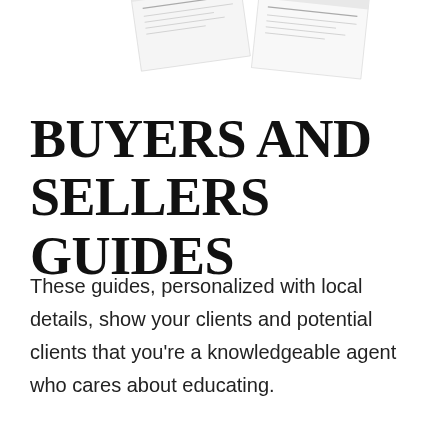[Figure (illustration): Two overlapping guide booklets/pamphlets shown at an angle at the top of the page, partially cropped]
BUYERS AND SELLERS GUIDES
These guides, personalized with local details, show your clients and potential clients that you're a knowledgeable agent who cares about educating.